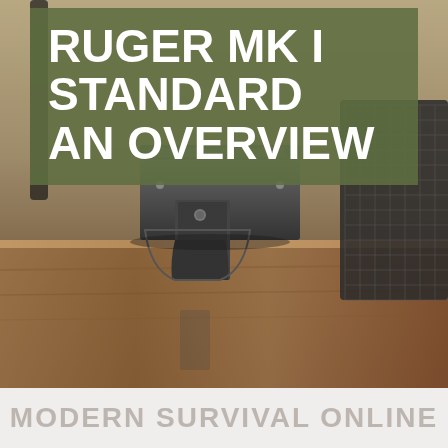[Figure (photo): Close-up photo of a Ruger MK I Standard pistol grip area and receiver, resting on a wooden surface. A black mesh chair back is visible in the background. The photo shows the metal parts of the firearm including what appears to be a magazine well or grip area from a low angle.]
RUGER MK I STANDARD AN OVERVIEW
MODERN SURVIVAL ONLINE